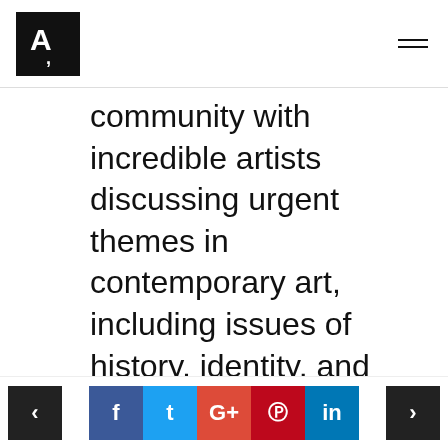[Logo: stylized A with comma mark] [Hamburger menu]
community with incredible artists discussing urgent themes in contemporary art, including issues of history, identity, and social injustices. Brazilian art is diverse yet it has historically been greatly conceptual and
< [Facebook] [Twitter] [Google+] [Pinterest] [LinkedIn] >